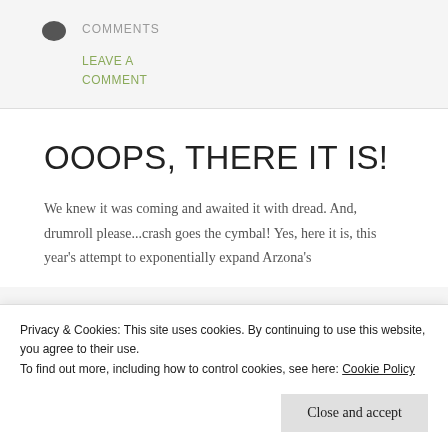COMMENTS
LEAVE A COMMENT
OOOPS, THERE IT IS!
We knew it was coming and awaited it with dread. And, drumroll please...crash goes the cymbal! Yes, here it is, this year's attempt to exponentially expand Arzona's
Privacy & Cookies: This site uses cookies. By continuing to use this website, you agree to their use. To find out more, including how to control cookies, see here: Cookie Policy
Close and accept